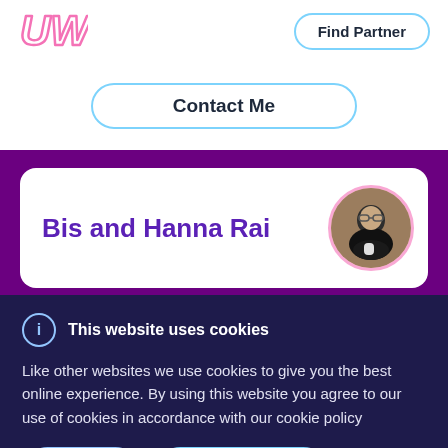[Figure (logo): UW logo in pink cursive script]
Find Partner
Contact Me
Bis and Hanna Rai
[Figure (photo): Circular profile photo of a person wearing black, smiling, with a pink border]
This website uses cookies
Like other websites we use cookies to give you the best online experience. By using this website you agree to our use of cookies in accordance with our cookie policy
Got it
Learn more